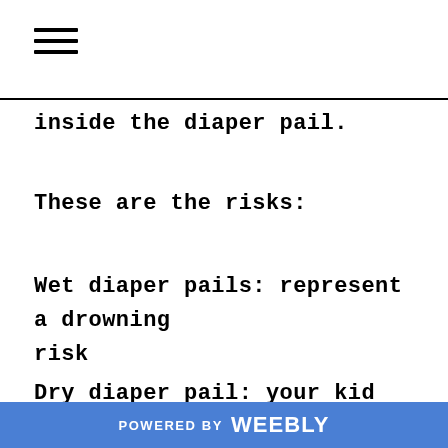☰
inside the diaper pail.
These are the risks:
Wet diaper pails: represent a drowning risk
Dry diaper pail: your kid may open the lid and be in contact with dirty diapers
POWERED BY weebly